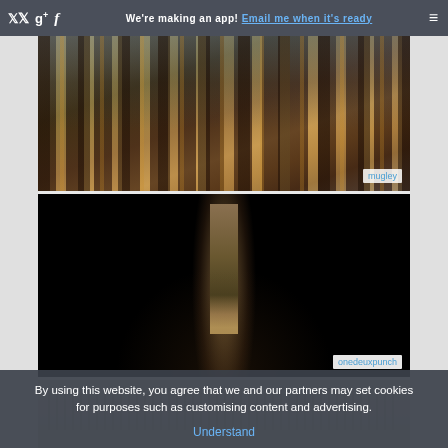We're making an app! Email me when it's ready
[Figure (photo): Overhead or angled view of tall cylindrical pipe-organ or building columns, illuminated with gold/warm tones against a blue-grey cloudy sky. Credit: mugley]
[Figure (photo): Dark dramatic alley shot looking up between two very dark buildings with a narrow strip of a lit building visible in the center. Nearly all black with a slim lit corridor in the middle. Credit: onedeuxpunch]
[Figure (photo): Partial view of a third image at the bottom, appears to be a light-toned sketch or photograph, partially cut off.]
By using this website, you agree that we and our partners may set cookies for purposes such as customising content and advertising.
Understand